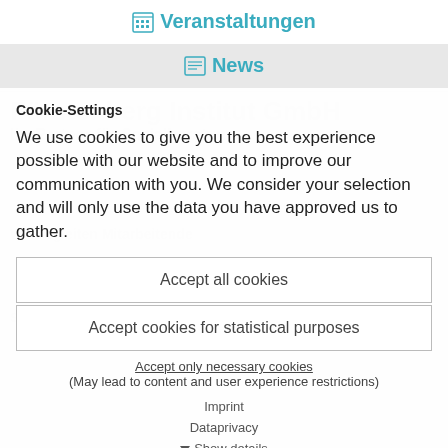Veranstaltungen
News
Cookie-Settings
We use cookies to give you the best experience possible with our website and to improve our communication with you. We consider your selection and will only use the data you have approved us to gather.
Accept all cookies
Accept cookies for statistical purposes
Accept only necessary cookies
(May lead to content and user experience restrictions)
Imprint
Dataprivacy
Show details